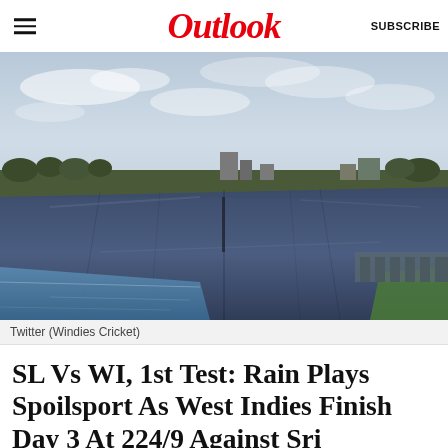Outlook  SUBSCRIBE
[Figure (photo): Cricket ground with the pitch covered by large blue/dark tarpaulins due to rain. Overcast sky in background with trees and buildings visible on the horizon.]
Twitter (Windies Cricket)
SL Vs WI, 1st Test: Rain Plays Spoilsport As West Indies Finish Day 3 At 224/9 Against Sri